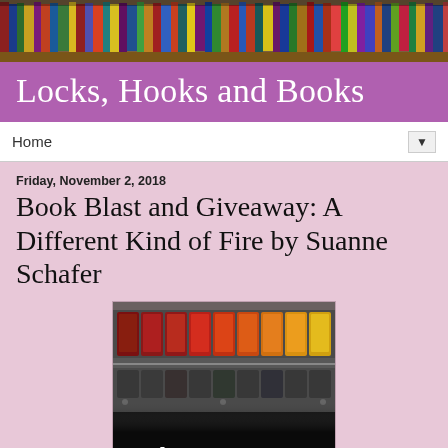[Figure (photo): Bookshelf header photo showing colorful books on wooden shelves]
Locks, Hooks and Books
Home
Friday, November 2, 2018
Book Blast and Giveaway: A Different Kind of Fire by Suanne Schafer
[Figure (photo): Book cover of 'A Different Kind of Fire' by Suanne Schafer showing watercolor paint palette with warm colors (reds, oranges, yellows) and text 'A Different' at the bottom]